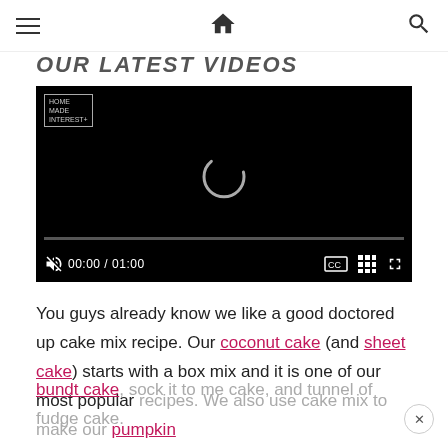Navigation bar with hamburger menu, home icon, and search icon
OUR LATEST VIDEOS
[Figure (screenshot): Embedded video player with black background, HomeMade Interest logo in top-left, loading spinner in center, progress bar, and playback controls showing 00:00 / 01:00 with CC, grid, and fullscreen buttons]
You guys already know we like a good doctored up cake mix recipe. Our coconut cake (and sheet cake) starts with a box mix and it is one of our most popular recipes. We also use cake mix to make our pumpkin bundt cake, sock it to me cake, and tunnel of fudge cake.